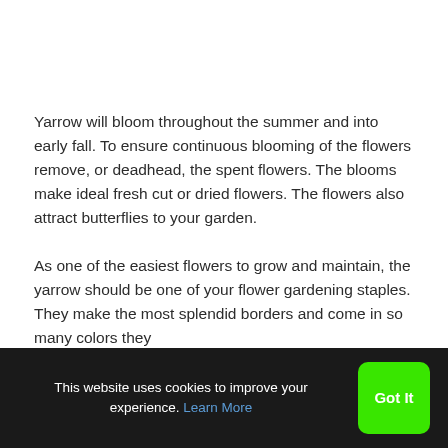Yarrow will bloom throughout the summer and into early fall. To ensure continuous blooming of the flowers remove, or deadhead, the spent flowers. The blooms make ideal fresh cut or dried flowers. The flowers also attract butterflies to your garden.
As one of the easiest flowers to grow and maintain, the yarrow should be one of your flower gardening staples. They make the most splendid borders and come in so many colors they
This website uses cookies to improve your experience. Learn More  Got It